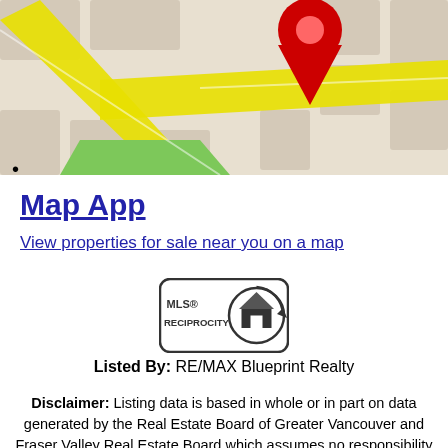[Figure (map): Street map showing roads, blocks, green park area, yellow main roads, and a red location pin marker in the center-upper area]
•
Map App
View properties for sale near you on a map
[Figure (logo): MLS Reciprocity logo: rounded rectangle border with house icon and text MLS® RECIPROCITY]
Listed By: RE/MAX Blueprint Realty
Disclaimer: Listing data is based in whole or in part on data generated by the Real Estate Board of Greater Vancouver and Fraser Valley Real Estate Board which assumes no responsibility